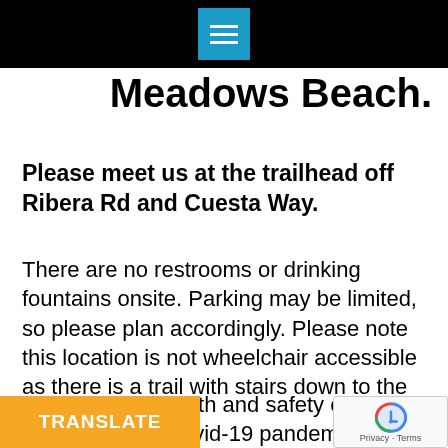Meadows Beach.
Please meet us at the trailhead off Ribera Rd and Cuesta Way.
There are no restrooms or drinking fountains onsite. Parking may be limited, so please plan accordingly. Please note this location is not wheelchair accessible as there is a trail with stairs down to the beach.
Due to public health and safety concerns caused by the Covid-19 pandemic, we are limiting our cleanup events to 20 participants. Registration is required. A... be required to follow the Co... ctions detailed below.